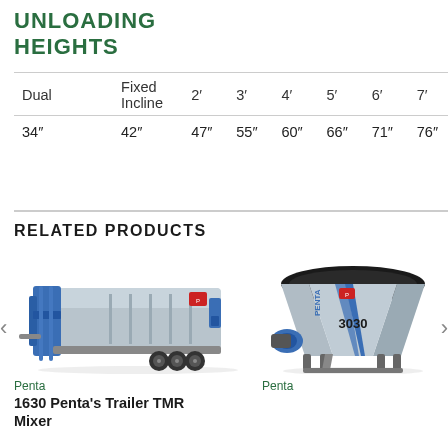UNLOADING HEIGHTS
| Dual | Fixed Incline | 2' | 3' | 4' | 5' | 6' | 7' |
| --- | --- | --- | --- | --- | --- | --- | --- |
| 34" | 42" | 47" | 55" | 60" | 66" | 71" | 76" |
RELATED PRODUCTS
[Figure (photo): Large silver/blue trailer-mounted TMR feed mixer wagon by Penta, shown from the side with unloading door open.]
Penta
1630 Penta's Trailer TMR Mixer
[Figure (photo): Penta 3030 stationary feed mixer unit, silver and blue, shown from front-right angle with open top hopper.]
Penta